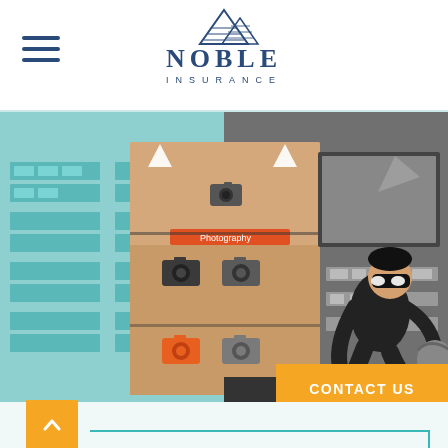Noble Insurance
[Figure (illustration): Split-scene illustration: left side shows a colorful e-commerce or photography website on a bright teal-background store shelf scene, right side shows a burglar/thief in black mask and outfit crouching in a dark grey store, carrying a bag. A CONTACT US orange button overlays the bottom right of the image.]
CONTACT US